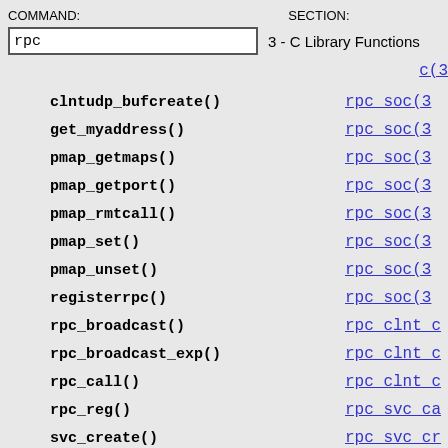COMMAND: rpc   SECTION: 3 - C Library Functions
clntudp_bufcreate()   rpc soc(3
get_myaddress()   rpc soc(3
pmap_getmaps()   rpc soc(3
pmap_getport()   rpc soc(3
pmap_rmtcall()   rpc soc(3
pmap_set()   rpc soc(3
pmap_unset()   rpc soc(3
registerrpc()   rpc soc(3
rpc_broadcast()   rpc clnt c
rpc_broadcast_exp()   rpc clnt c
rpc_call()   rpc clnt c
rpc_reg()   rpc svc ca
svc_create()   rpc svc cr
svc_destroy()   rpc svc cr
svc_dg_create()   rpc svc cr
svc_dg_enablecache()   rpc svc ca
svc_fd_create()   rpc svc cr
svc_fds()   rpc soc(3
svc_freeargs()   rpc svc re
svc_getargs()   rpc svc re
svc_getcaller()   rpc soc(3
svc_getreq()   rpc soc(3